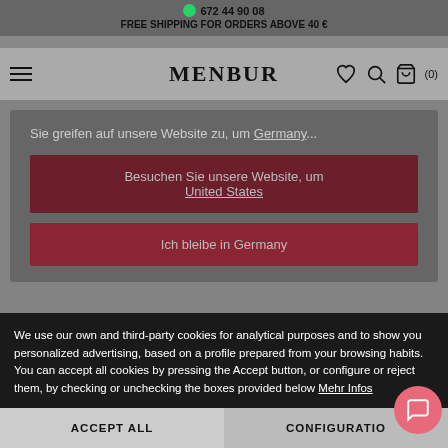672 44 90 08
FREE SHIPPING FOR ORDERS ABOVE 40 €
MENBUR
Sie greifen auf unsere Website zu, um Germany...
Besuchen Sie unsere Website, um United States
Ich bleibe in Germany
We use our own and third-party cookies for analytical purposes and to show you personalized advertising, based on a profile prepared from your browsing habits. You can accept all cookies by pressing the Accept button, or configure or reject them, by checking or unchecking the boxes provided below Mehr Infos
ACCEPT ALL
CONFIGURATION